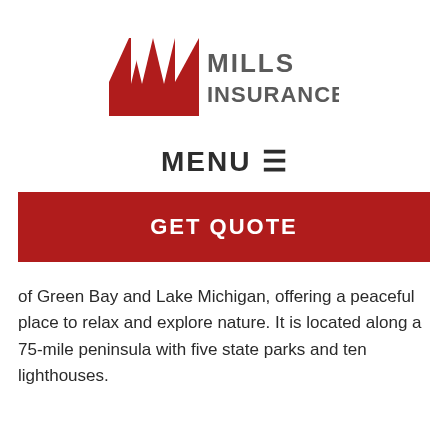[Figure (logo): Mills Insurance logo with red stylized M lettermark and gray MILLS INSURANCE text]
MENU ≡
GET QUOTE
of Green Bay and Lake Michigan, offering a peaceful place to relax and explore nature. It is located along a 75-mile peninsula with five state parks and ten lighthouses.